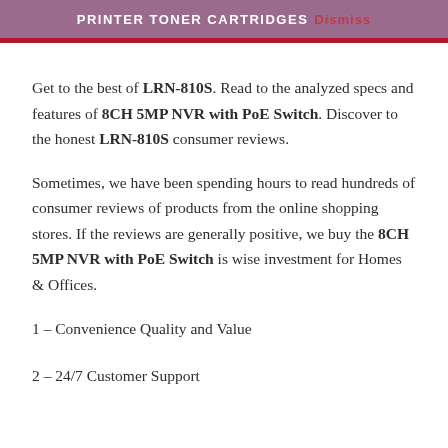PRINTER TONER CARTRIDGES Dismiss
Get to the best of LRN-810S. Read to the analyzed specs and features of 8CH 5MP NVR with PoE Switch. Discover to the honest LRN-810S consumer reviews.
Sometimes, we have been spending hours to read hundreds of consumer reviews of products from the online shopping stores. If the reviews are generally positive, we buy the 8CH 5MP NVR with PoE Switch is wise investment for Homes & Offices.
1 – Convenience Quality and Value
2 – 24/7 Customer Support